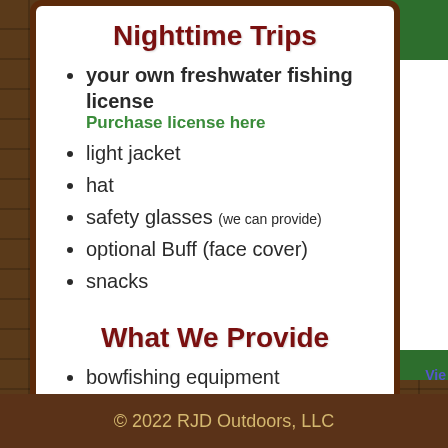Nighttime Trips
your own freshwater fishing license
Purchase license here
light jacket
hat
safety glasses (we can provide)
optional Buff (face cover)
snacks
What We Provide
bowfishing equipment
ice
water
Gatorade
© 2022 RJD Outdoors, LLC